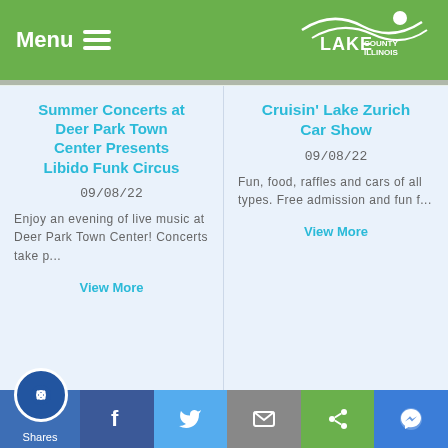Menu | Lake County Illinois
Summer Concerts at Deer Park Town Center Presents Libido Funk Circus
09/08/22
Enjoy an evening of live music at Deer Park Town Center! Concerts take p...
View More
Cruisin' Lake Zurich Car Show
09/08/22
Fun, food, raffles and cars of all types. Free admission and fun f...
View More
[Figure (photo): Flight Night event promotional image with colorful drinks and bokeh background]
[Figure (photo): Children playing outdoors in a wooded area, climbing on logs]
Shares | Facebook | Twitter | Email | Share | Messenger